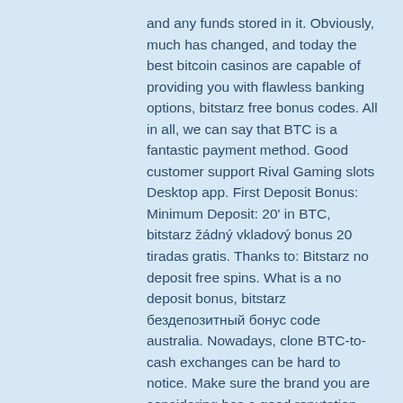and any funds stored in it. Obviously, much has changed, and today the best bitcoin casinos are capable of providing you with flawless banking options, bitstarz free bonus codes. All in all, we can say that BTC is a fantastic payment method. Good customer support Rival Gaming slots Desktop app. First Deposit Bonus: Minimum Deposit: 20' in BTC, bitstarz žádný vkladový bonus 20 tiradas gratis. Thanks to: Bitstarz no deposit free spins. What is a no deposit bonus, bitstarz бездепозитный бонус code australia. Nowadays, clone BTC-to-cash exchanges can be hard to notice. Make sure the brand you are considering has a good reputation, has been in business for long, and is active on social media, bitstarz bonus senza deposito. The selection of games is very limited, and the titles that can be found are functional at best. On the positive side, all games are provably fair, and you can play